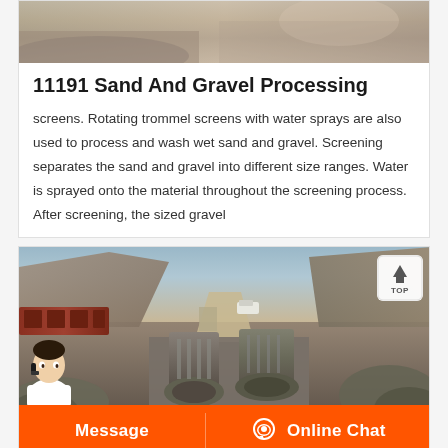[Figure (photo): Top portion of a quarry/sand and gravel processing site photo, partially visible at top of page]
11191 Sand And Gravel Processing
screens. Rotating trommel screens with water sprays are also used to process and wash wet sand and gravel. Screening separates the sand and gravel into different size ranges. Water is sprayed onto the material throughout the screening process. After screening, the sized gravel
[Figure (photo): Aerial/elevated view of a quarry with crusher machinery, rock piles, train wagons on left, dirt road leading through the site, white vehicle visible, industrial crushing equipment in foreground]
Message
Online Chat